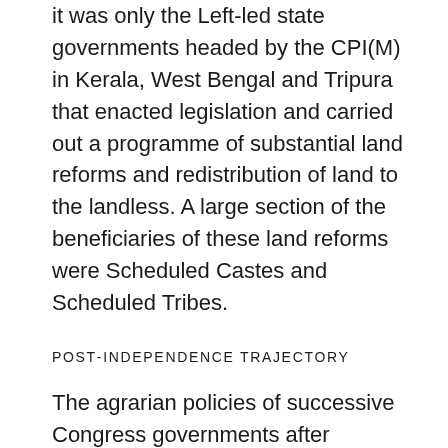it was only the Left-led state governments headed by the CPI(M) in Kerala, West Bengal and Tripura that enacted legislation and carried out a programme of substantial land reforms and redistribution of land to the landless. A large section of the beneficiaries of these land reforms were Scheduled Castes and Scheduled Tribes.
POST-INDEPENDENCE TRAJECTORY
The agrarian policies of successive Congress governments after independence were aimed at transforming semi-feudal landlords into capitalist landlords and developing a stratum of rich peasants. They also led to and further intensified class differentiation in the peasantry.